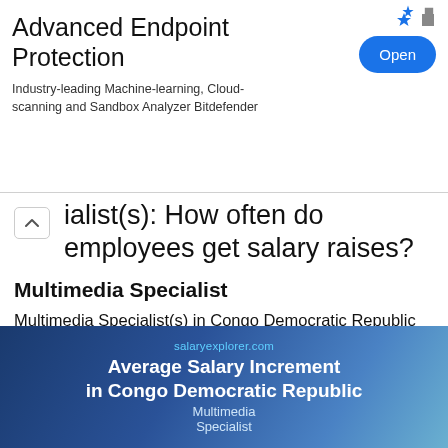[Figure (screenshot): Advertisement banner for Advanced Endpoint Protection with an 'Open' button]
ialist(s): How often do employees get salary raises?
Multimedia Specialist
Multimedia Specialist(s) in Congo Democratic Republic are likely to observe a salary increase of approximately 7% every 28 months. The national average annual increment for all professions combined is 5% granted to employees every 28 months.
[Figure (infographic): Average Salary Increment in Congo Democratic Republic - Multimedia Specialist banner from salaryexplorer.com]